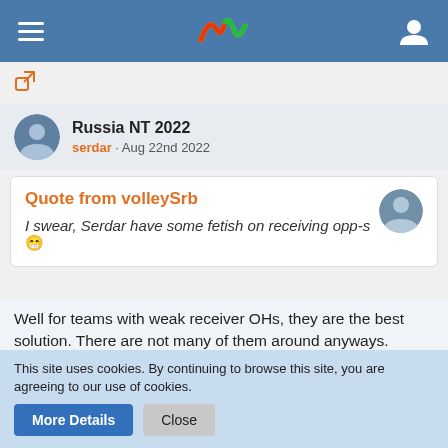Russia NT 2022 navigation bar
External link icon
Russia NT 2022
serdar · Aug 22nd 2022
Quote from volleySrb
I swear, Serdar have some fetish on receiving opp-s 😁
Well for teams with weak receiver OHs, they are the best solution. There are not many of them around anyways. Ksenia is one of the rare players who can hit well from zone 2. Most of the
This site uses cookies. By continuing to browse this site, you are agreeing to our use of cookies.